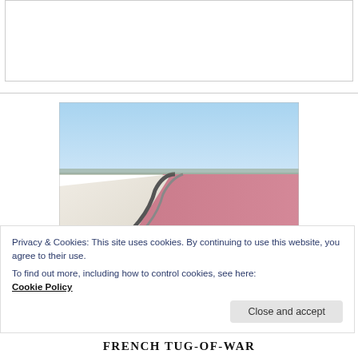[Figure (photo): Aerial or ground-level view of salt flats and pink salt pans with a winding path/road, under a clear blue sky. The scene shows white salt deposits on the left and vivid pink/red saline water on the right, with scrub vegetation.]
Privacy & Cookies: This site uses cookies. By continuing to use this website, you agree to their use.
To find out more, including how to control cookies, see here:
Cookie Policy
FRENCH TUG-OF-WAR